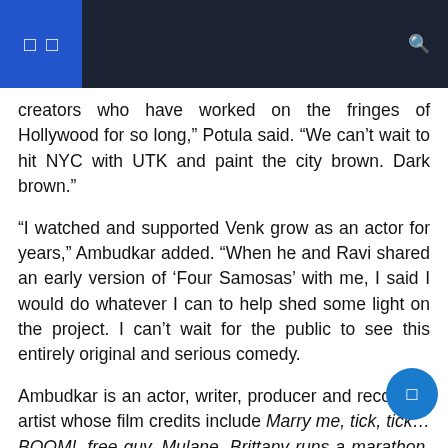navigation header bar
creators who have worked on the fringes of Hollywood for so long,” Potula said. “We can’t wait to hit NYC with UTK and paint the city brown. Dark brown.”
“I watched and supported Venk grow as an actor for years,” Ambudkar added. “When he and Ravi shared an early version of ‘Four Samosas’ with me, I said I would do whatever I can to help shed some light on the project. I can’t wait for the public to see this entirely original and serious comedy.
Ambudkar is an actor, writer, producer and recording artist whose film credits include Marry me, tick, tick… BOOM!, free guy, Mulane, Brittany runs a marathon, Game over, man!, Blind spot, Basmati Blue, Barbershop: the next haircut, Roll Along 2, Perfect and rocket science. In addition to Ghostswe have seen it on TV in series including The stall, I have never, Special, Brockmire, famous white and The Mindy Project. He